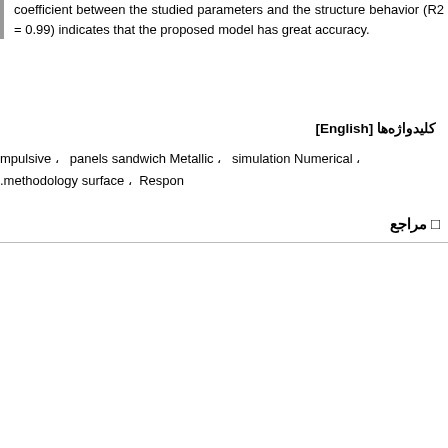coefficient between the studied parameters and the structure behavior (R2 = 0.99) indicates that the proposed model has great accuracy.
کلیدواژه‌ها [English]
mpulsive ، panels sandwich Metallic ، simulation Numerical ، Respon ، surface methodology.
□ مراجع
[Figure (other): Journal cover card showing: دوره 52، شماره 10 / دی 1399 / صفحه 2823-2838, alongside a blue journal cover with title نشریه مهندسی مکانیک, with a cookie consent overlay in Persian.]